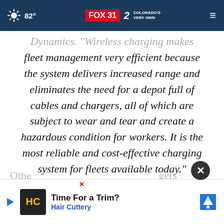82° | FOX 31 | 2 Colorado's Very Own
Dynamics. "Wireless charging makes fleet management very efficient because the system delivers increased range and eliminates the need for a depot full of cables and chargers, all of which are subject to wear and tear and create a hazardous condition for workers. It is the most reliable and cost-effective charging system for fleets available today."
Othe... [partially visible text] ...gers for th... [partially visible text]
[Figure (screenshot): Advertisement banner: Time For a Trim? Hair Cuttery with logo and map icon]